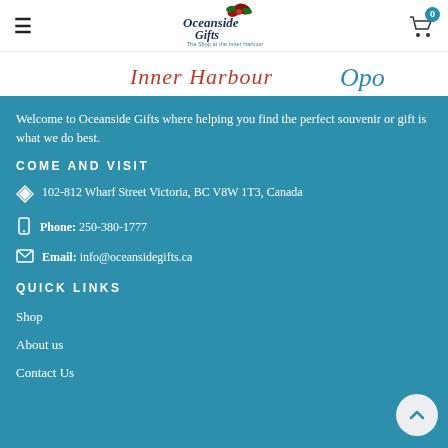Oceanside Gifts navigation bar with hamburger menu and cart icon (0 items)
[Figure (logo): Oceanside Gifts logo with decorative script text and holly/bow graphic]
[Figure (illustration): Banner showing 'Inner Harbour' in red italic text and a cursive logo mark]
Welcome to Oceanside Gifts where helping you find the perfect souvenir or gift is what we do best.
COME AND VISIT
102-812 Wharf Street Victoria, BC V8W 1T3, Canada
Phone: 250-380-1777
Email: info@oceansidegifts.ca
QUICK LINKS
Shop
About us
Contact Us